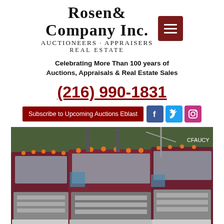[Figure (logo): Rosen & Company Inc. Auctioneers · Appraisers Real Estate logo with dark red menu button]
Celebrating More Than 100 years of Auctions, Appraisals & Real Estate Sales
(216) 990-1831
Subscribe to Upcoming Auctions Eblast
[Figure (photo): Fleet of dark maroon/purple semi trucks parked in a lot, viewed from front angles, with orange cab lights visible]
[Figure (infographic): Email envelope icon (pink/magenta) and phone handset icon (green) at bottom of page]